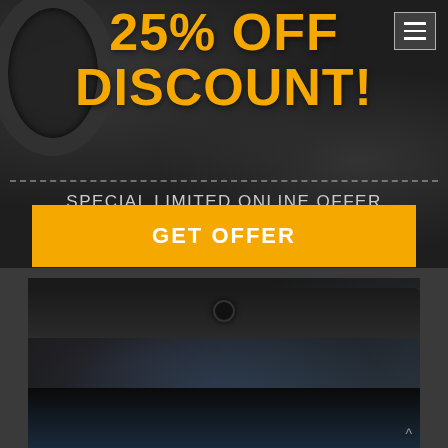25% OFF DISCOUNT!
SPECIAL LIMITED ONLINE OFFER 25% Discount savings off your deductible.
GET OFFER
[Figure (photo): Car interior view from inside showing dashboard and windshield area, dark toned image]